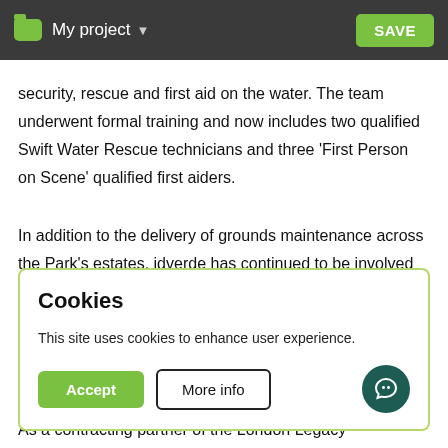My project ▾  SAVE
security, rescue and first aid on the water. The team underwent formal training and now includes two qualified Swift Water Rescue technicians and three 'First Person on Scene' qualified first aiders.
In addition to the delivery of grounds maintenance across the Park's estates, idverde has continued to be involved in
Cookies
This site uses cookies to enhance user experience.
Accept   More info
As a contracting partner of the London Legacy